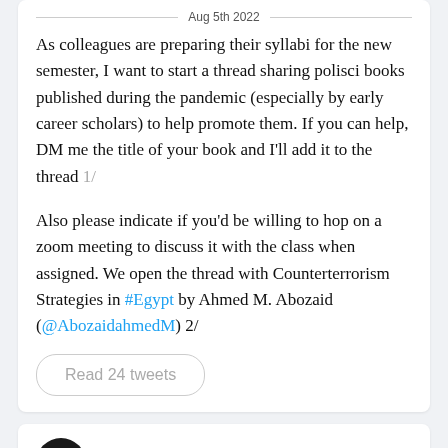Aug 5th 2022
As colleagues are preparing their syllabi for the new semester, I want to start a thread sharing polisci books published during the pandemic (especially by early career scholars) to help promote them. If you can help, DM me the title of your book and I'll add it to the thread 1/
Also please indicate if you'd be willing to hop on a zoom meeting to discuss it with the class when assigned. We open the thread with Counterterrorism Strategies in #Egypt by Ahmed M. Abozaid (@AbozaidahmedM) 2/
Read 24 tweets
Critical Threats
@criticalthreats
Aug 5th 2022